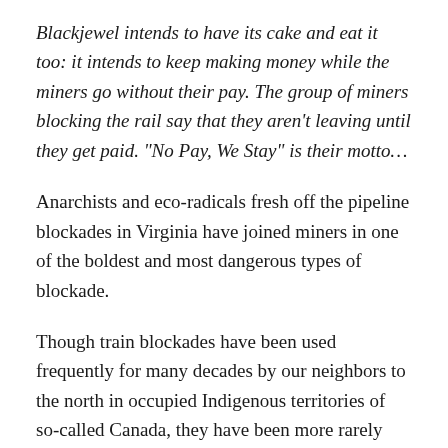Blackjewel intends to have its cake and eat it too: it intends to keep making money while the miners go without their pay. The group of miners blocking the rail say that they aren't leaving until they get paid. “No Pay, We Stay” is their motto…
Anarchists and eco-radicals fresh off the pipeline blockades in Virginia have joined miners in one of the boldest and most dangerous types of blockade.
Though train blockades have been used frequently for many decades by our neighbors to the north in occupied Indigenous territories of so-called Canada, they have been more rarely used in the U.S. recently. They have also been used in anti-nuclear and anti-military actions in decades past, one of which resulted in anti-war veteran Brian Willson losing his legs in 1987.